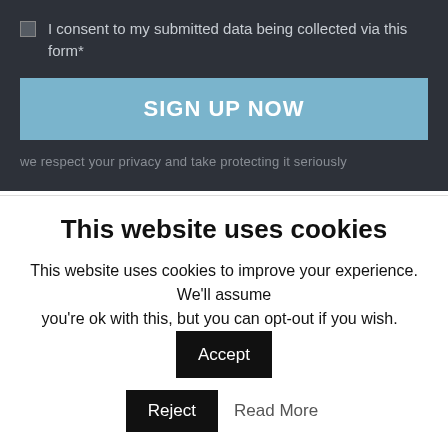I consent to my submitted data being collected via this form*
[Figure (screenshot): Blue SIGN UP NOW button]
we respect your privacy and take protecting it seriously
RELATED POSTS
This website uses cookies
This website uses cookies to improve your experience. We'll assume you're ok with this, but you can opt-out if you wish.
Accept
Reject
Read More